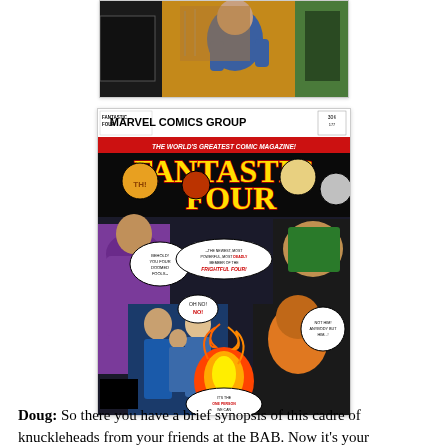[Figure (photo): Partial comic book artwork image cropped at top, showing colorful comic panels with a figure in blue.]
[Figure (photo): Fantastic Four Marvel Comics Group comic book cover. Price 30 cents. Shows the Frightful Four villains and Fantastic Four heroes. The World's Greatest Comic Magazine! Title reads FANTASTIC FOUR in large yellow and red letters. Speech bubbles present.]
Doug: So there you have a brief synopsis of this cadre of knuckleheads from your friends at the BAB. Now it's your